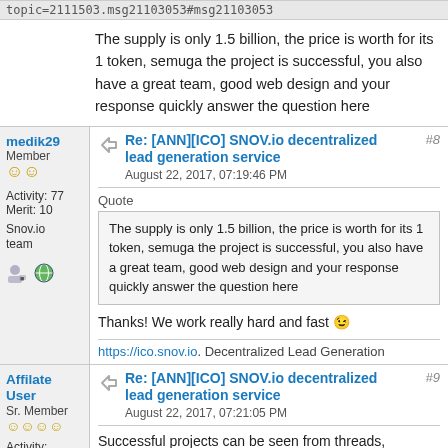topic=2111503.msg21103053#msg21103053
The supply is only 1.5 billion, the price is worth for its 1 token, semuga the project is successful, you also have a great team, good web design and your response quickly answer the question here
medik29 | Member | Activity: 77 | Merit: 10 | Snov.io team
Re: [ANN][ICO] SNOV.io decentralized lead generation service | August 22, 2017, 07:19:46 PM | #8
Quote: The supply is only 1.5 billion, the price is worth for its 1 token, semuga the project is successful, you also have a great team, good web design and your response quickly answer the question here
Thanks!  We work really hard and fast 😉
https://ico.snov.io. Decentralized Lead Generation
Affilate User | Sr. Member | Re: [ANN][ICO] SNOV.io decentralized lead generation service | August 22, 2017, 07:21:05 PM | #9
Successful projects can be seen from threads, websites and how to answer questions, is there a